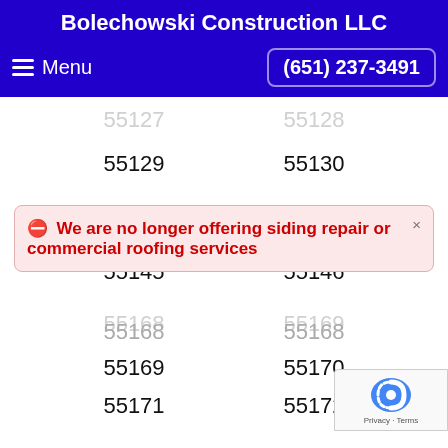Bolechowski Construction LLC
Menu   (651) 237-3491
55127   55128
55129   55130
55133   55144
55145   55146
55168   55169
55169   55170
55171   55172
55175   55187
55188
We are no longer offering siding repair or commercial roofing services